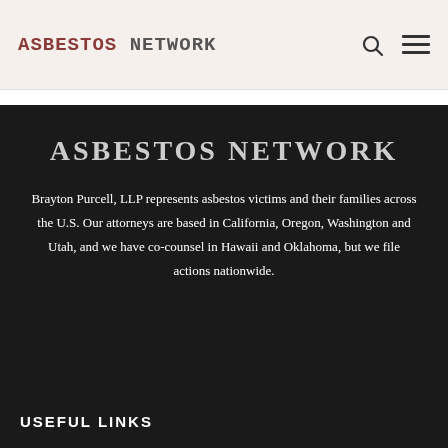ASBESTOS NETWORK
ASBESTOS NETWORK
Brayton Purcell, LLP represents asbestos victims and their families across the U.S. Our attorneys are based in California, Oregon, Washington and Utah, and we have co-counsel in Hawaii and Oklahoma, but we file actions nationwide.
USEFUL LINKS